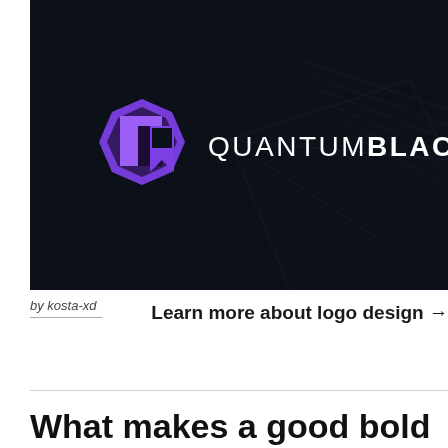[Figure (logo): QuantumBlack logo on a dark (near-black navy) background with faint circuit/graph lines. The logo consists of a purple octagonal icon with a stylized Q letterform, beside the wordmark 'QUANTUMBLACK' in white — 'QUANTUM' in light weight and 'BLACK' in bold.]
by kosta-xd
Learn more about logo design →
What makes a good bold